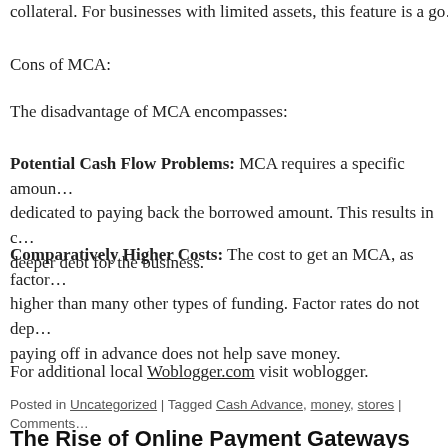collateral. For businesses with limited assets, this feature is a go…
Cons of MCA:
The disadvantage of MCA encompasses:
Potential Cash Flow Problems: MCA requires a specific amoun… dedicated to paying back the borrowed amount. This results in c… deeper debt for the business.
Comparatively Higher Costs: The cost to get an MCA, as factor… higher than many other types of funding. Factor rates do not dep… paying off in advance does not help save money.
For additional local Woblogger.com visit woblogger.
Posted in Uncategorized | Tagged Cash Advance, money, stores | Comments…
The Rise of Online Payment Gateways
The cashless payment system is growing exponentially with evo…